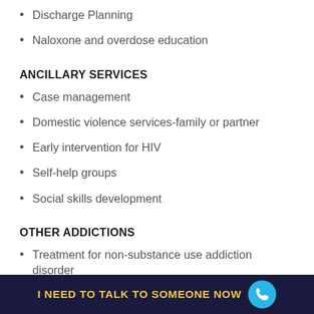Discharge Planning
Naloxone and overdose education
ANCILLARY SERVICES
Case management
Domestic violence services-family or partner
Early intervention for HIV
Self-help groups
Social skills development
OTHER ADDICTIONS
Treatment for non-substance use addiction disorder
COUNSELING SERVICES AND EDUCATION
I NEED TO TALK TO SOMEONE NOW